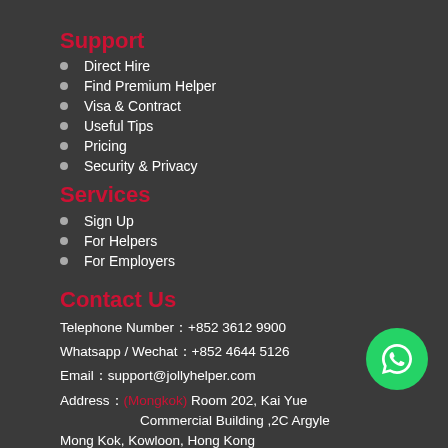Support
Direct Hire
Find Premium Helper
Visa & Contract
Useful Tips
Pricing
Security & Privacy
Services
Sign Up
For Helpers
For Employers
Contact Us
Telephone Number：+852 3612 9900
Whatsapp / Wechat：+852 4644 5126
Email：support@jollyhelper.com
Address：(Mongkok) Room 202, Kai Yue Commercial Building ,2C Argyle Mong Kok, Kowloon, Hong Kong +852 2982 2190